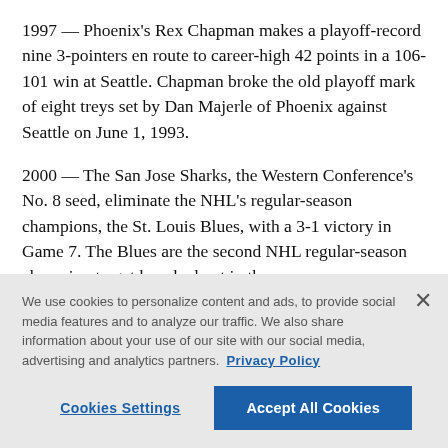1997 — Phoenix's Rex Chapman makes a playoff-record nine 3-pointers en route to career-high 42 points in a 106-101 win at Seattle. Chapman broke the old playoff mark of eight treys set by Dan Majerle of Phoenix against Seattle on June 1, 1993.
2000 — The San Jose Sharks, the Western Conference's No. 8 seed, eliminate the NHL's regular-season champions, the St. Louis Blues, with a 3-1 victory in Game 7. The Blues are the second NHL regular-season champion to get knocked out in the
We use cookies to personalize content and ads, to provide social media features and to analyze our traffic. We also share information about your use of our site with our social media, advertising and analytics partners. Privacy Policy
Cookies Settings
Accept All Cookies